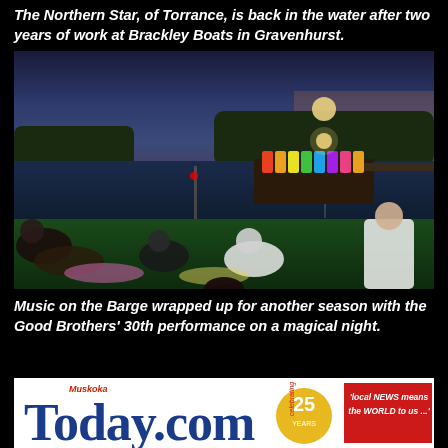The Northern Star, of Torrance, is back in the water after two years of work at Brackley Boats in Gravenhurst.
[Figure (photo): Evening outdoor concert scene with audience sitting on grass watching a lit barge stage on a lake at dusk]
Music on the Barge wrapped up for another season with the Good Brothers' 30th performance on a magical night.
[Figure (logo): MuskokaTodayCOM logo with 25 years celebrating badge and tagline 'local NEWS means the WORLD to us...']